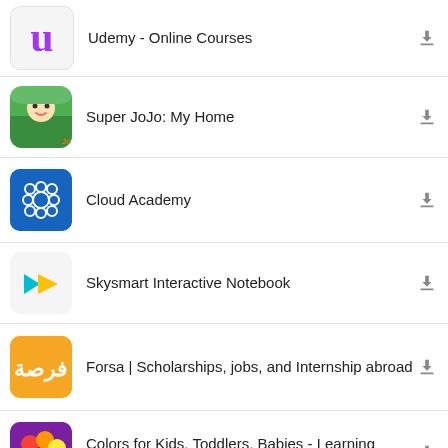Udemy - Online Courses
Super JoJo: My Home
Cloud Academy
Skysmart Interactive Notebook
Forsa | Scholarships, jobs, and Internship abroad
Colors for Kids, Toddlers, Babies - Learning Game
Divyang Special Education